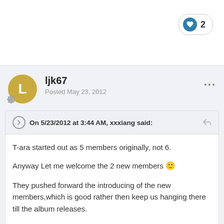[Figure (other): Like button pill showing heart icon and count 2]
ljk67
Posted May 23, 2012
On 5/23/2012 at 3:44 AM, xxxiang said:
T-ara started out as 5 members originally, not 6.

Anyway Let me welcome the 2 new members :)

They pushed forward the introducing of the new members,which is good rather then keep us hanging there till the album releases.

Just hope these 2 members will be another case of successful looks+vocals combo like minkyung and hyomin from ccm :)